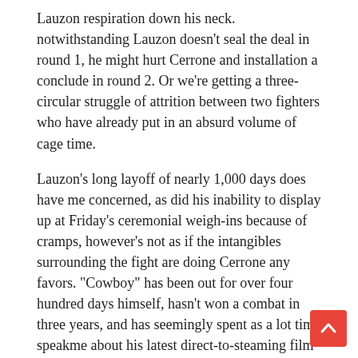Lauzon respiration down his neck. notwithstanding Lauzon doesn't seal the deal in round 1, he might hurt Cerrone and installation a conclude in round 2. Or we're getting a three-circular struggle of attrition between two fighters who have already put in an absurd volume of cage time.
Lauzon's long layoff of nearly 1,000 days does have me concerned, as did his inability to display up at Friday's ceremonial weigh-ins because of cramps, however's not as if the intangibles surrounding the fight are doing Cerrone any favors. "Cowboy" has been out for over four hundred days himself, hasn't won a combat in three years, and has seemingly spent as a lot time speakme about his latest direct-to-steaming film than advertising his matchup with Lauzon. might be fighting in entrance of a crowd will rejuvenate Cerrone, but sufficient to push him past a swarming Lauzon? dubious.
"J-Lau" gets this one accomplished early.